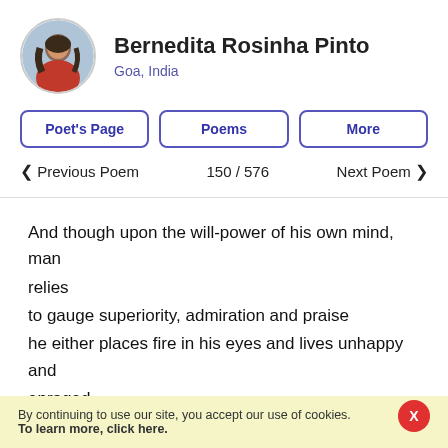Bernedita Rosinha Pinto
Goa, India
Poet's Page
Poems
More
< Previous Poem   150 / 576   Next Poem >
And though upon the will-power of his own mind, man relies
to gauge superiority, admiration and praise
he either places fire in his eyes and lives unhappy and enraged
or chooses the stairway of peace to escalate
By continuing to use our site, you accept our use of cookies. To learn more, click here.